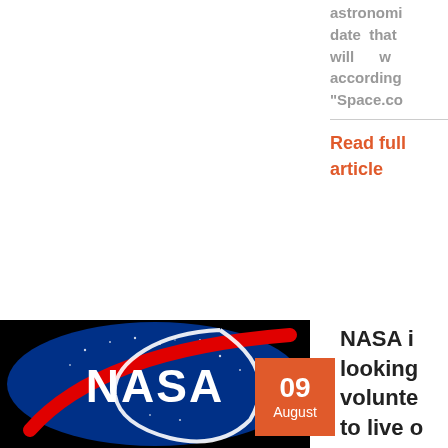astronomi date that will w according "Space.co
Read full article
[Figure (photo): NASA logo on black background — blue oval with white NASA text and red swoosh]
09 August
NASA i looking volunte to live o